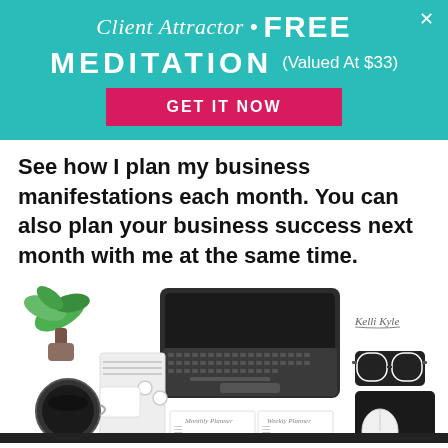[Figure (infographic): Teal banner advertisement for 'Client Attractor FREE MEDITATION (Valued At $33)' with a pink 'GET IT NOW' button and an X close button]
See how I plan my business manifestations each month. You can also plan your business success next month with me at the same time.
[Figure (photo): Flat lay desk scene with a laptop, plant, glasses, notebook, earphones, coffee cup, and planner documents labeled 'Monthly Planner' and 'Weekly Planner'. 'Kelli Kyle' signature visible in top right corner.]